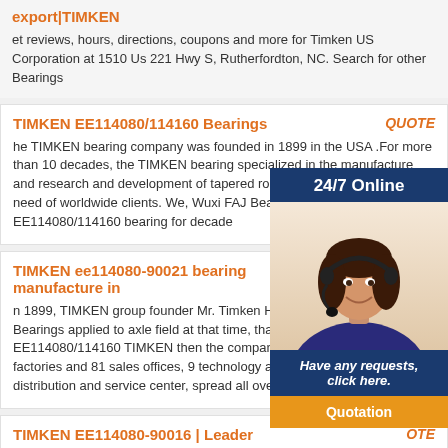export|TIMKEN
et reviews, hours, directions, coupons and more for Timken US Corporation at 1510 Us 221 Hwy S, Rutherfordton, NC. Search for other Bearings
TIMKEN EE114080/114160 Bearings
QUOTE
he TIMKEN bearing company was founded in 1899 in the USA .For more than 10 decades, the TIMKEN bearing specialized in the manufacture and research and development of tapered roller bearing to satisfy the need of worldwide clients. We, Wuxi FAJ Bearing Co.,Ltd supply TIMKEN EE114080/114160 bearing for decade
TIMKEN ee114080-90021 bearing manufacture in
OTE
n 1899, TIMKEN group founder Mr. Timken Hen ler Bearings applied to axle field at that time, that is ing. EE114080/114160 TIMKEN then the company w 52 factories and 81 sales offices, 9 technology and d 14 distribution and service center, spread all over t
[Figure (infographic): Customer service widget overlay with '24/7 Online' banner in dark blue, photo of woman with headset, 'Have any requests, click here.' text in dark blue, and 'Quotation' button in orange]
TIMKEN EE114080-90016 | Leader
OTE
earings>Roller Bearings>Tapered Roller Bearing Assemblies>EE114080-